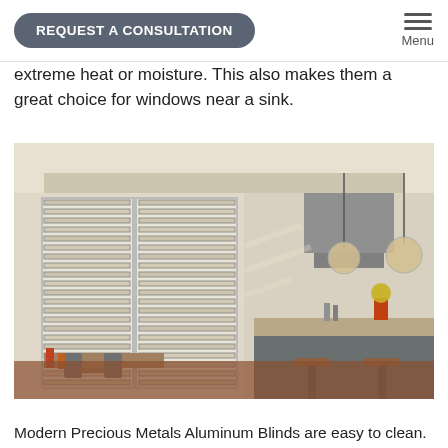REQUEST A CONSULTATION | Menu
extreme heat or moisture. This also makes them a great choice for windows near a sink.
[Figure (photo): Kitchen interior with horizontal aluminum blinds on a large window, pendant lights hanging over a kitchen island, bar stools, flowers in a vase, and kitchen appliances in the background.]
Modern Precious Metals Aluminum Blinds are easy to clean.